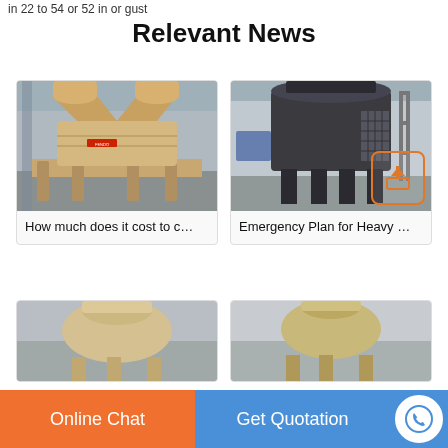...in 22 to 54 or 52 in or gust
Relevant News
[Figure (photo): Industrial sand-making or crushing machine, beige/cream colored, in a factory hall]
How much does it cost to c…
[Figure (photo): Large dark gray industrial crushing/processing machine in a factory]
Emergency Plan for Heavy …
[Figure (photo): Partial view of a beige industrial machine, top of cone crusher visible]
[Figure (photo): Partial view of another industrial machine, tan/beige cone crusher top]
Online Chat
Get Quotation